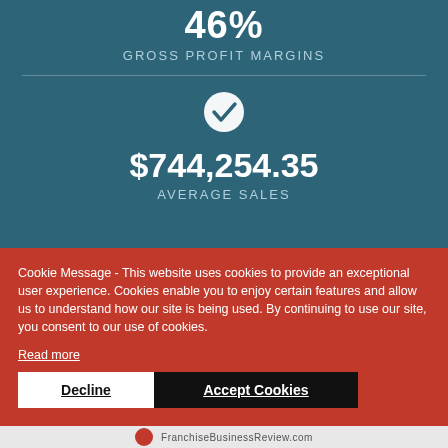46%
GROSS PROFIT MARGINS
[Figure (infographic): White checkmark inside white circle on teal background]
$744,254.35
AVERAGE SALES
Cookie Message - This website uses cookies to provide an exceptional user experience. Cookies enable you to enjoy certain features and allow us to understand how our site is being used. By continuing to use our site, you consent to our use of cookies.
Read more
Decline
Accept Cookies
FranchiseBusinessReview.com